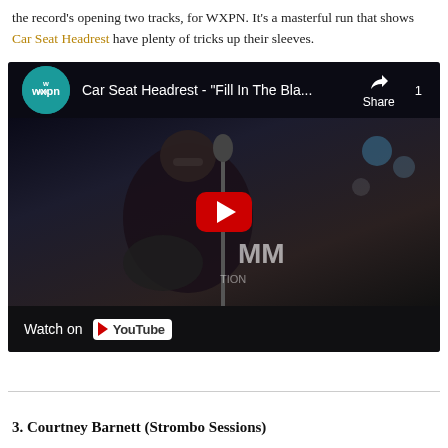the record's opening two tracks, for WXPN. It's a masterful run that shows Car Seat Headrest have plenty of tricks up their sleeves.
[Figure (screenshot): YouTube video embed showing Car Seat Headrest performing live, with WXPN logo, title 'Car Seat Headrest - "Fill In The Bla..."', Share button, YouTube play button overlay, and 'Watch on YouTube' bar at the bottom.]
3. Courtney Barnett (Strombo Sessions)